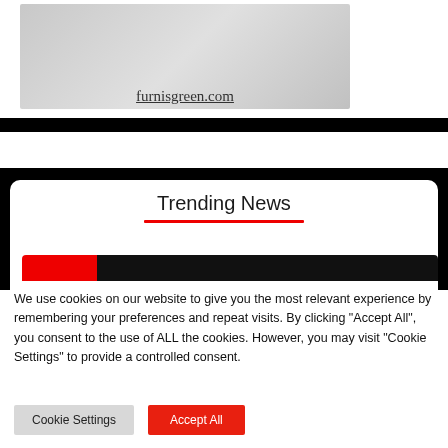[Figure (screenshot): Partial website screenshot showing furnisgreen.com domain text on a grey tiled floor background image]
furnisgreen.com
Trending News
[Figure (screenshot): Partial thumbnail image strip with red and black sections]
We use cookies on our website to give you the most relevant experience by remembering your preferences and repeat visits. By clicking “Accept All”, you consent to the use of ALL the cookies. However, you may visit "Cookie Settings" to provide a controlled consent.
Cookie Settings
Accept All